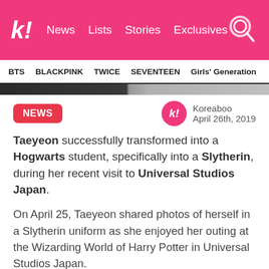k! News Lists Stories Exclusives
BTS BLACKPINK TWICE SEVENTEEN Girls' Generation
[Figure (photo): Partial image strip visible at top of article]
NEWS
Koreaboo
April 26th, 2019
Taeyeon successfully transformed into a Hogwarts student, specifically into a Slytherin, during her recent visit to Universal Studios Japan.
On April 25, Taeyeon shared photos of herself in a Slytherin uniform as she enjoyed her outing at the Wizarding World of Harry Potter in Universal Studios Japan.